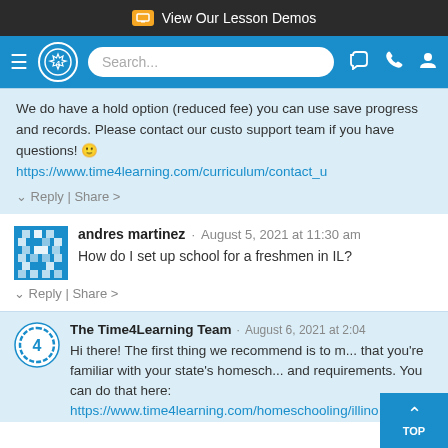View Our Lesson Demos
We do have a hold option (reduced fee) you can use save progress and records. Please contact our custo support team if you have questions! 🙂 https://www.time4learning.com/curriculum/contact_u
↓ Reply | Share >
andres martinez · August 5, 2021 at 11:30 am
How do I set up school for a freshmen in IL?
↓ Reply | Share >
The Time4Learning Team · August 6, 2021 at 2:04
Hi there! The first thing we recommend is to m... that you're familiar with your state's homesch... and requirements. You can do that here:
https://www.time4learning.com/homeschooling/illino